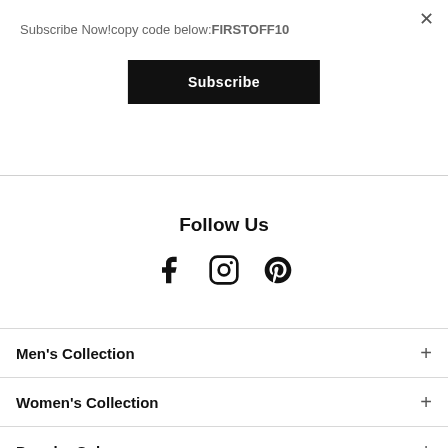Subscribe Now!copy code below:FIRSTOFF10
×
Subscribe
Follow Us
[Figure (illustration): Three social media icons: Facebook (f), Instagram (circle camera), Pinterest (P)]
Men's Collection +
Women's Collection +
Popular Colors +
Popular…